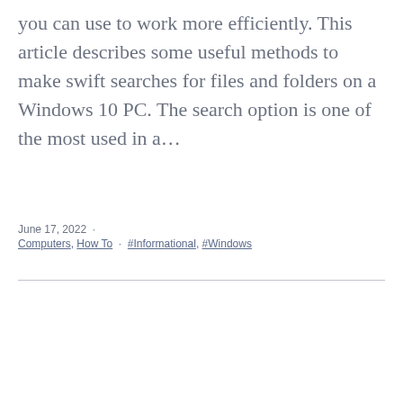you can use to work more efficiently. This article describes some useful methods to make swift searches for files and folders on a Windows 10 PC. The search option is one of the most used in a…
June 17, 2022 · Computers, How To · #Informational, #Windows